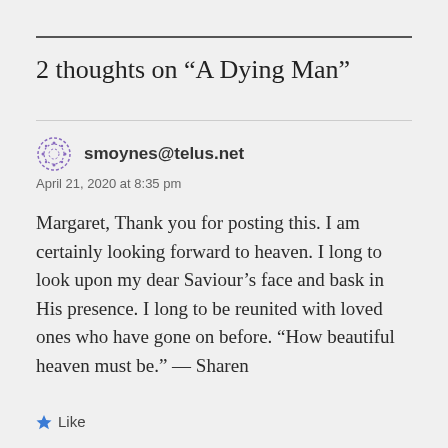2 thoughts on “A Dying Man”
smoynes@telus.net
April 21, 2020 at 8:35 pm
Margaret, Thank you for posting this. I am certainly looking forward to heaven. I long to look upon my dear Saviour’s face and bask in His presence. I long to be reunited with loved ones who have gone on before. “How beautiful heaven must be.” — Sharen
Like